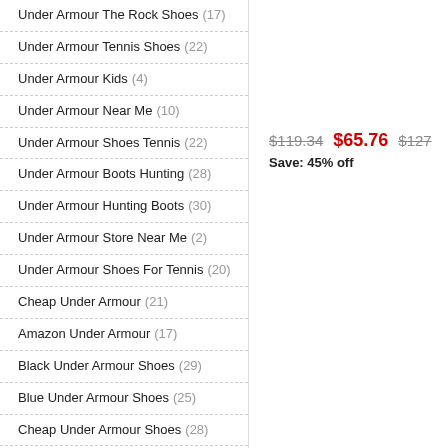Under Armour The Rock Shoes (17)
Under Armour Tennis Shoes (22)
Under Armour Kids (4)
Under Armour Near Me (10)
Under Armour Shoes Tennis (22)
Under Armour Boots Hunting (28)
Under Armour Hunting Boots (30)
Under Armour Store Near Me (2)
Under Armour Shoes For Tennis (20)
Cheap Under Armour (21)
Amazon Under Armour (17)
Black Under Armour Shoes (29)
Blue Under Armour Shoes (25)
Cheap Under Armour Shoes (28)
Dicks Under Armour (9)
$119.34  $65.76  $127  Save: 45% off